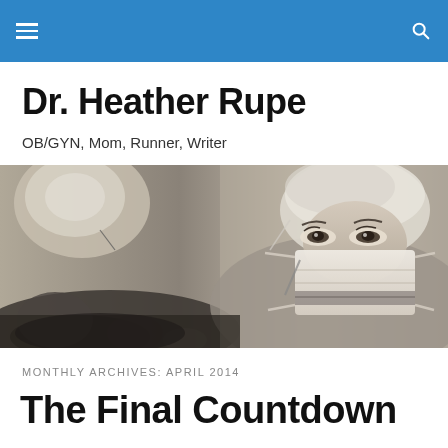Navigation bar with hamburger menu and search icon
Dr. Heather Rupe
OB/GYN, Mom, Runner, Writer
[Figure (photo): Black and white close-up photo of a female surgeon wearing a surgical mask, hair cap, looking down at an operating table with surgical instruments visible]
MONTHLY ARCHIVES: APRIL 2014
The Final Countdown